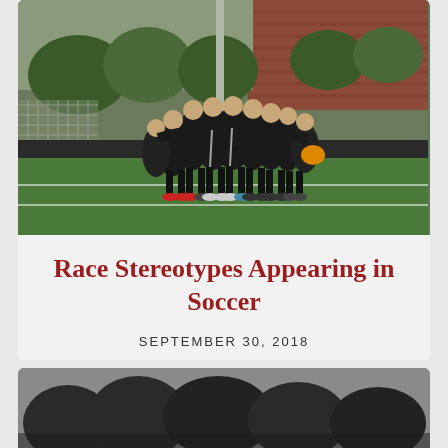[Figure (photo): Soccer team huddle on a green field, players in black uniforms with arms around each other, brick building and trees in background]
Race Stereotypes Appearing in Soccer
SEPTEMBER 30, 2018
[Figure (photo): Outdoor scene with trees against a grey sky, partially visible at bottom of page]